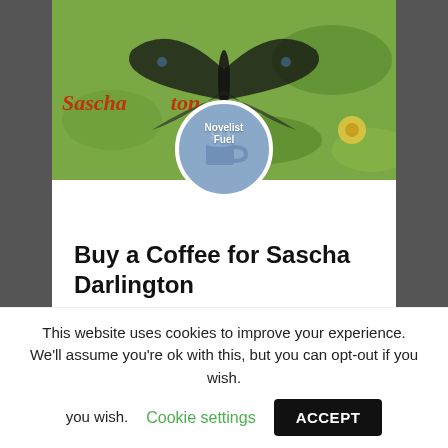[Figure (screenshot): Screenshot of a Buy Me a Coffee widget for Sascha Darlington. Shows a header image with butterfly and garden background and red cursive text overlay, a circular profile badge with a coffee mug icon labeled 'Novelist Fuel', a title 'Buy a Coffee for Sascha Darlington', two buttons ('One time' selected in pink, 'Monthly' in outline), and a coffee cup icon with '$2 each' price, quantity controls showing minus, 1, plus buttons.]
This website uses cookies to improve your experience. We'll assume you're ok with this, but you can opt-out if you wish. Cookie settings ACCEPT